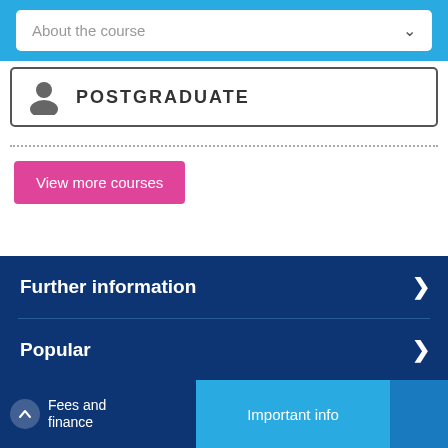[Figure (screenshot): Dropdown selector labeled 'About the course' with a chevron on a light blue background]
[Figure (screenshot): Postgraduate card with person icon and 'POSTGRADUATE' label in bold]
View more courses
Further information
Popular
Fees and finance
Important info